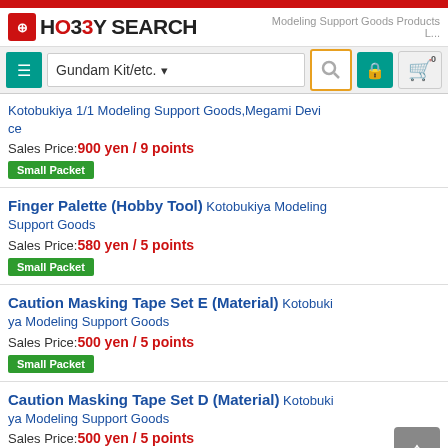HO33Y SEARCH — Modeling Support Goods Products L...
Gundam Kit/etc. ▾
Kotobukiya 1/1 Modeling Support Goods,Megami Device | Sales Price: 900 yen / 9 points | Small Packet
Finger Palette (Hobby Tool) Kotobukiya Modeling Support Goods | Sales Price: 580 yen / 5 points | Small Packet
Caution Masking Tape Set E (Material) Kotobukiya Modeling Support Goods | Sales Price: 500 yen / 5 points | Small Packet
Caution Masking Tape Set D (Material) Kotobukiya Modeling Support Goods | Sales Price: 500 yen / 5 points | Small Packet
Caution Masking Tape Set C (Material) Kotobukiya Modeling Support Goods